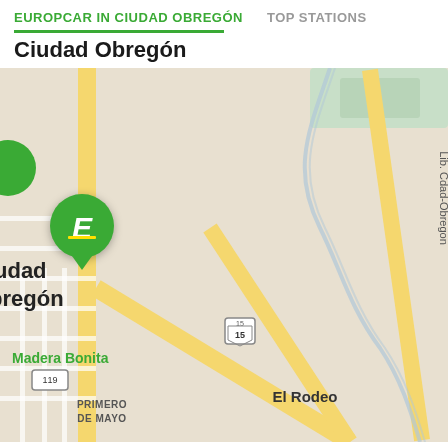EUROPCAR IN CIUDAD OBREGÓN    TOP STATIONS
Ciudad Obregón
[Figure (map): Map showing the area of Ciudad Obregón, Mexico, with neighborhoods and roads labeled including Jesús Manuel Meza, Solidaridad, Lib. Cdad-Obregon, Madera Bonita, Primero de Mayo, El Rodeo, Postura Nueve, Calle Quinientos Internacional, Yucuribam, and route markers 15 and 119. A green Europcar 'E' marker pin is placed on the left side of the map indicating the station location.]